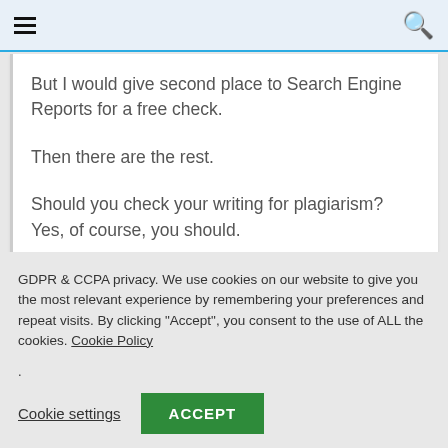☰  🔍
But I would give second place to Search Engine Reports for a free check.
Then there are the rest.
Should you check your writing for plagiarism? Yes, of course, you should.
GDPR & CCPA privacy. We use cookies on our website to give you the most relevant experience by remembering your preferences and repeat visits. By clicking "Accept", you consent to the use of ALL the cookies. Cookie Policy
.
Cookie settings   ACCEPT